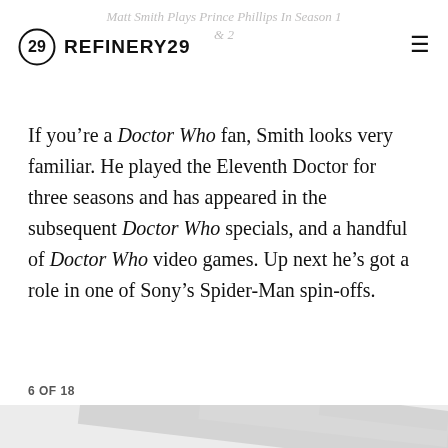Matt Smith Plays Prince Phillip In Season 1 & 2
If you're a Doctor Who fan, Smith looks very familiar. He played the Eleventh Doctor for three seasons and has appeared in the subsequent Doctor Who specials, and a handful of Doctor Who video games. Up next he's got a role in one of Sony's Spider-Man spin-offs.
6 OF 18
[Figure (photo): Partially visible image placeholder with diagonal light grey stripes on a grey background, cropped at page bottom]